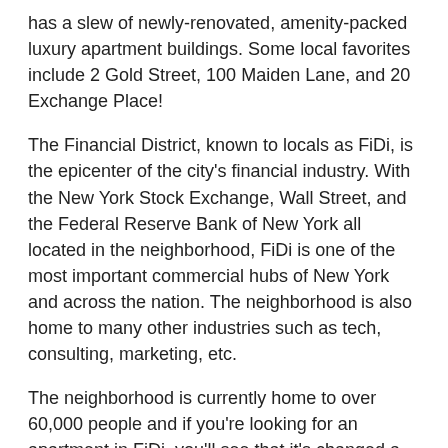has a slew of newly-renovated, amenity-packed luxury apartment buildings. Some local favorites include 2 Gold Street, 100 Maiden Lane, and 20 Exchange Place!
The Financial District, known to locals as FiDi, is the epicenter of the city's financial industry. With the New York Stock Exchange, Wall Street, and the Federal Reserve Bank of New York all located in the neighborhood, FiDi is one of the most important commercial hubs of New York and across the nation. The neighborhood is also home to many other industries such as tech, consulting, marketing, etc.
The neighborhood is currently home to over 60,000 people and if you're looking for an apartment in FiDi, you'll see that it's changed a lot to accommodate the ever expanding population. There are several grocery stores, post offices, and lots of up and coming restaurants and bars. This region also has a slew of newly-renovated, amenity-packed luxury apartment buildings. Some local favorites include 2 Gold Street, 100 Maiden Lane, and 20 Exchange Place!
Whether you're visiting or a resident, there are a few not-to-be-missed activities in the Financial District. Enjoy the